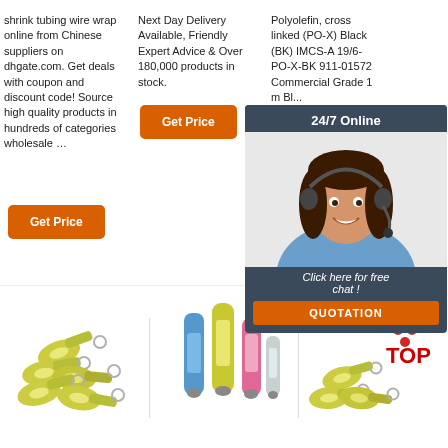shrink tubing wire wrap online from Chinese suppliers on dhgate.com. Get deals with coupon and discount code! Source high quality products in hundreds of categories wholesale …
[Figure (other): Orange 'Get Price' button - column 1]
Next Day Delivery Available, Friendly Expert Advice & Over 180,000 products in stock.
[Figure (other): Orange 'Get Price' button - column 2]
Polyolefin, cross linked (PO-X) Black (BK) IMCS-A 19/6-PO-X-BK 911-01572 Commercial Grade 1 m Bl...
[Figure (other): Orange 'Get' button - column 3]
[Figure (other): 24/7 Online chat widget with customer service representative photo, 'Click here for free chat!' text, and QUOTATION button]
[Figure (photo): Yellow heat shrink ring terminal connectors on white background]
[Figure (photo): Colorful heat shrink butt connectors (blue, yellow, pink, clear) on white background]
[Figure (photo): Yellow heat shrink ring terminal connectors with TOP logo]